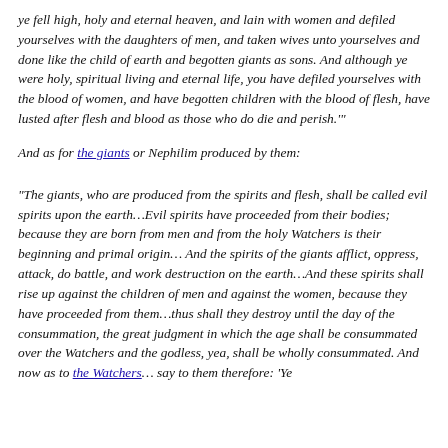ye fell high, holy and eternal heaven, and lain with women and defiled yourselves with the daughters of men, and taken wives unto yourselves and done like the child of earth and begotten giants as sons. And although ye were holy, spiritual living and eternal life, you have defiled yourselves with the blood of women, and have begotten children with the blood of flesh, have lusted after flesh and blood as those who do die and perish.'
And as for the giants or Nephilim produced by them:
“The giants, who are produced from the spirits and flesh, shall be called evil spirits upon the earth…Evil spirits have proceeded from their bodies; because they are born from men and from the holy Watchers is their beginning and primal origin… And the spirits of the giants afflict, oppress, attack, do battle, and work destruction on the earth…And these spirits shall rise up against the children of men and against the women, because they have proceeded from them…thus shall they destroy until the day of the consummation, the great judgment in which the age shall be consummated over the Watchers and the godless, yea, shall be wholly consummated. And now as to the Watchers… say to them therefore: ‘Ye